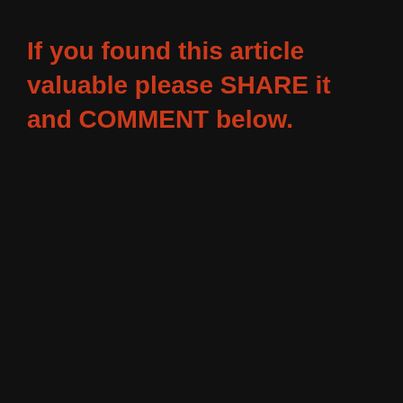If you found this article valuable please SHARE it and COMMENT below.